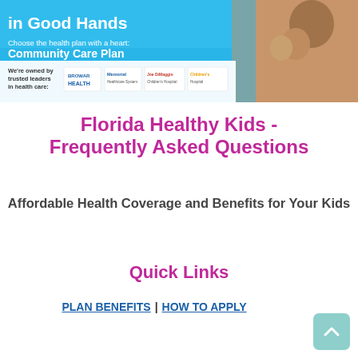[Figure (photo): Banner with 'Put Your Health in Good Hands' heading, 'Choose the health plan with a heart: Community Care Plan' subheading, photo of mother and baby on right, and logos of Broward Health, Memorial Healthcare System, Joe DiMaggio Children's Hospital, and Children's Hospital at bottom]
Florida Healthy Kids - Frequently Asked Questions
Affordable Health Coverage and Benefits for Your Kids
Quick Links
PLAN BENEFITS | HOW TO APPLY